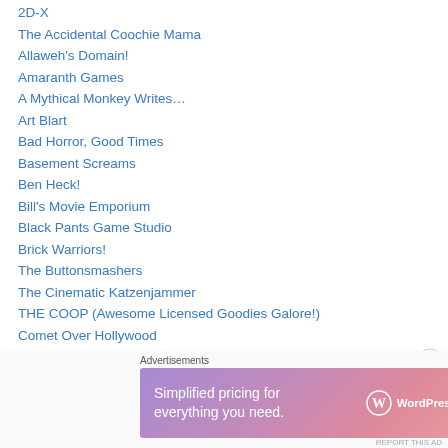2D-X
The Accidental Coochie Mama
Allaweh's Domain!
Amaranth Games
A Mythical Monkey Writes…
Art Blart
Bad Horror, Good Times
Basement Screams
Ben Heck!
Bill's Movie Emporium
Black Pants Game Studio
Brick Warriors!
The Buttonsmashers
The Cinematic Katzenjammer
THE COOP (Awesome Licensed Goodies Galore!)
Comet Over Hollywood
The Daily Misfort…
[Figure (infographic): WordPress.com advertisement banner: 'Simplified pricing for everything you need.' with WordPress.com logo on a purple-pink gradient background.]